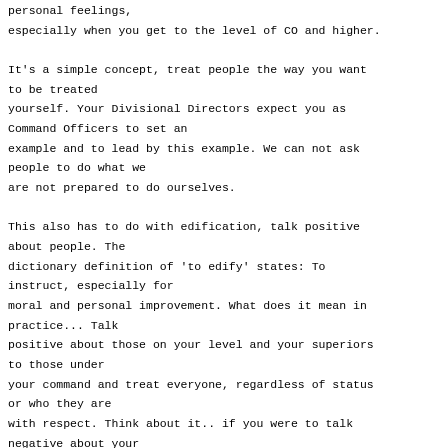personal feelings,
especially when you get to the level of CO and higher.

It's a simple concept, treat people the way you want to be treated
yourself. Your Divisional Directors expect you as Command Officers to set an
example and to lead by this example. We can not ask people to do what we
are not prepared to do ourselves.

This also has to do with edification, talk positive about people. The
dictionary definition of 'to edify' states: To instruct, especially for
moral and personal improvement. What does it mean in practice... Talk
positive about those on your level and your superiors to those under
your command and treat everyone, regardless of status or who they are
with respect. Think about it.. if you were to talk negative about your
superiors to your crew. It not only makes the superior look bad, but
also the UCIP and you, yourself will look bad... But what is there to
stop your crew from talking equally negative about you to their peers
and those under their command? They will do as you do